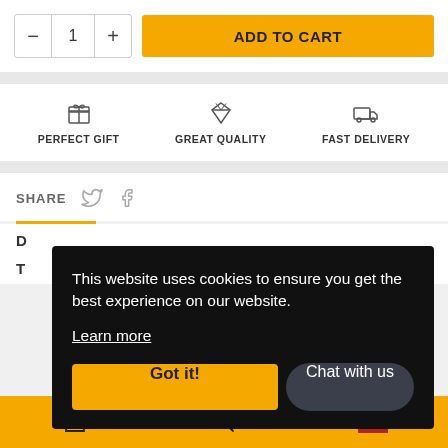[Figure (screenshot): E-commerce product page screenshot showing quantity selector with minus button, number 1, plus button, and an orange ADD TO CART button]
[Figure (infographic): Three feature icons and labels: PERFECT GIFT (gift icon), GREAT QUALITY (diamond icon), FAST DELIVERY (truck icon)]
SHARE
This website uses cookies to ensure you get the best experience on our website.
Learn more
Got it!
Chat with us